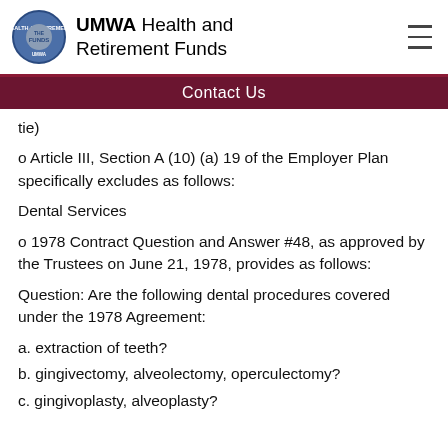UMWA Health and Retirement Funds
Contact Us
tie)
o Article III, Section A (10) (a) 19 of the Employer Plan specifically excludes as follows:
Dental Services
o 1978 Contract Question and Answer #48, as approved by the Trustees on June 21, 1978, provides as follows:
Question: Are the following dental procedures covered under the 1978 Agreement:
a. extraction of teeth?
b. gingivectomy, alveolectomy, operculectomy?
c. gingivoplasty, alveoplasty?